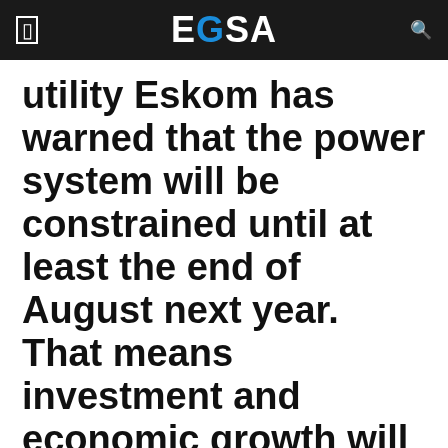EGSA
utility Eskom has warned that the power system will be constrained until at least the end of August next year. That means investment and economic growth will remain stunted for the foreseeable future.
Eskom gave an update on the “state of the system” on Monday. It’s not very good.